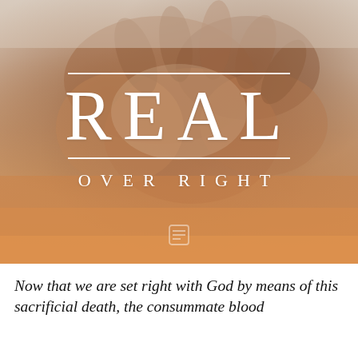[Figure (photo): Blurred close-up photo of multiple hands joined together (clasped/stacked) against a warm beige and orange-tone background. White decorative text overlay reads 'REAL' in large serif letters between two horizontal white lines, with 'OVER RIGHT' in spaced serif capitals below. Small watermark icon at bottom center of image.]
Now that we are set right with God by means of this sacrificial death, the consummate blood